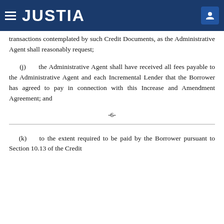JUSTIA
transactions contemplated by such Credit Documents, as the Administrative Agent shall reasonably request;
(j) the Administrative Agent shall have received all fees payable to the Administrative Agent and each Incremental Lender that the Borrower has agreed to pay in connection with this Increase and Amendment Agreement; and
-6-
(k) to the extent required to be paid by the Borrower pursuant to Section 10.13 of the Credit